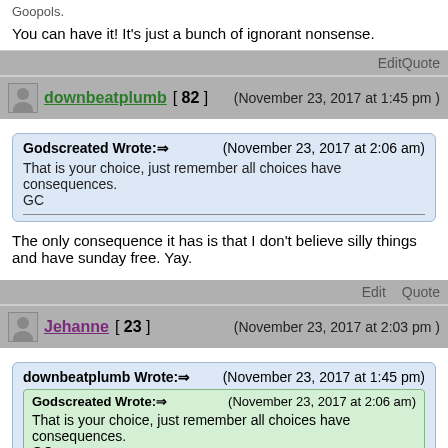Goopols.
You can have it!  It's just a bunch of ignorant nonsense.
Edit   Quote
downbeatplumb [ 82 ]   (November 23, 2017 at 1:45 pm )
Godscreated Wrote:⇒   (November 23, 2017 at 2:06 am)
That is your choice, just remember all choices have consequences.
GC
The only consequence it has is that I don't believe silly things and have sunday free. Yay.
Edit   Quote
Jehanne [ 23 ]   (November 23, 2017 at 2:03 pm )
downbeatplumb Wrote:⇒   (November 23, 2017 at 1:45 pm)
Godscreated Wrote:⇒   (November 23, 2017 at 2:06 am)
That is your choice, just remember all choices have consequences.
GC